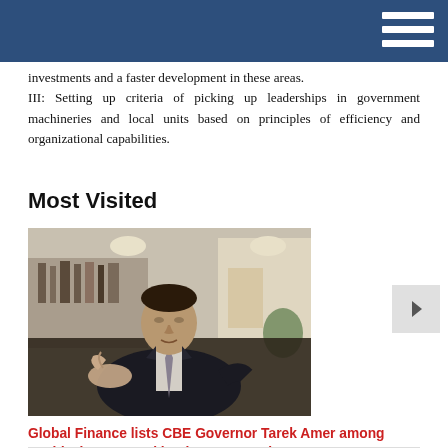investments and a faster development in these areas.
III: Setting up criteria of picking up leaderships in government machineries and local units based on principles of efficiency and organizational capabilities.
Most Visited
[Figure (photo): A man in a dark suit and tie seated, gesturing with his hands while speaking, in an office environment with bookshelves and lighting in the background.]
Global Finance lists CBE Governor Tarek Amer among world's best central bank governors in 2022